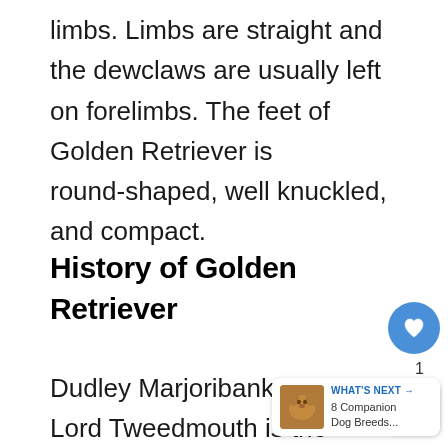limbs. Limbs are straight and the dewclaws are usually left on forelimbs. The feet of Golden Retriever is round-shaped, well knuckled, and compact.
History of Golden Retriever
Dudley Marjoribanks, The first Lord Tweedmouth is the person who introduced this breed. He experimented from 1840 to 1890 to
[Figure (other): Heart/like button (blue circle with heart icon), share count showing 1, share button, and 'What's Next' widget showing '8 Companion Dog Breeds...' with a dog thumbnail image]